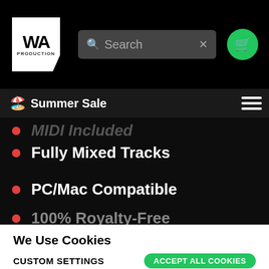WA Production — Search bar — Cart
🏖️ Summer Sale
MIDI Included
Fully Mixed Tracks
PC/Mac Compatible
100% Royalty-Free
We Use Cookies
This website uses cookies to ensure its basic functionalities and to enhance your online experience. Chose which categories you allow us to use. Read our cookie policy for details.
CUSTOM SETTINGS    ACCEPT ALL COOKIES